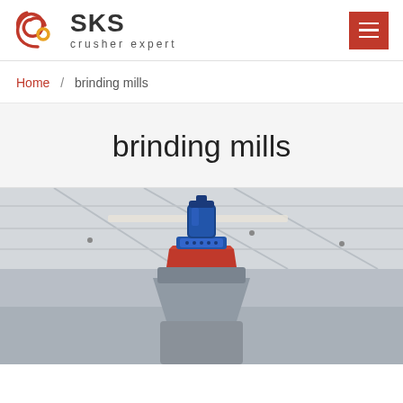[Figure (logo): SKS crusher expert logo with red and gold swirl emblem and SKS brand name]
Home / brinding mills
brinding mills
[Figure (photo): Industrial grinding mill equipment inside a factory/warehouse with roof trusses visible. The mill shows a blue cylindrical motor on top, blue coupling, red/orange funnel-shaped part, and grey mill body below.]